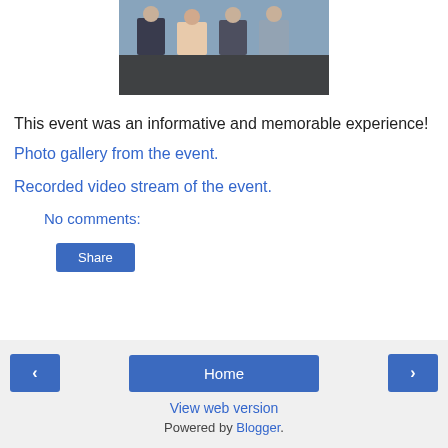[Figure (photo): Group photo of four people in business attire standing together at an event, with blue background]
This event was an informative and memorable experience!
Photo gallery from the event.
Recorded video stream of the event.
No comments:
Share
‹   Home   ›   View web version   Powered by Blogger.